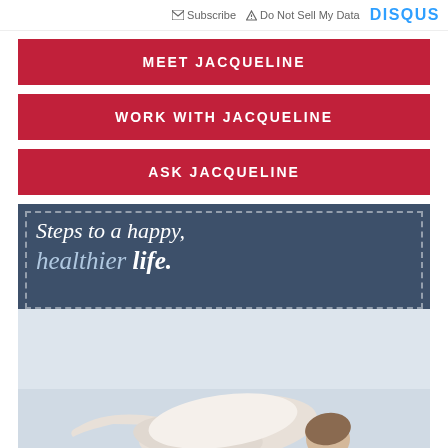Subscribe  Do Not Sell My Data  DISQUS
MEET JACQUELINE
WORK WITH JACQUELINE
ASK JACQUELINE
[Figure (illustration): Promotional banner with dark blue background and dashed border containing the text 'Steps to a happy, healthier life.' followed by a photo of a woman doing a yoga pose (child's pose / resting pose) on a white background.]